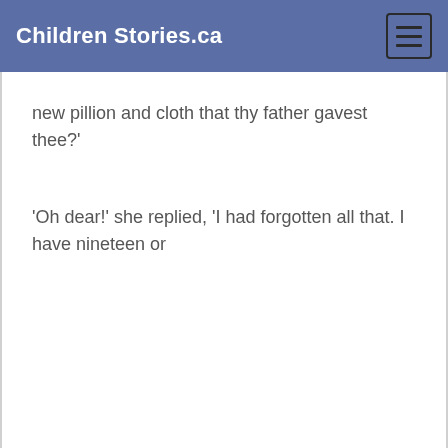Children Stories.ca
new pillion and cloth that thy father gavest thee?'
'Oh dear!' she replied, 'I had forgotten all that. I have nineteen or